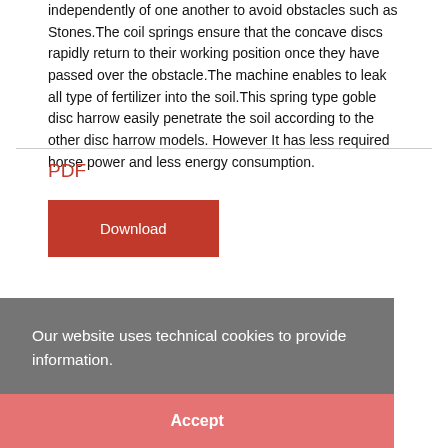independently of one another to avoid obstacles such as Stones.The coil springs ensure that the concave discs rapidly return to their working position once they have passed over the obstacle.The machine enables to leak all type of fertilizer into the soil.This spring type goble disc harrow easily penetrate the soil according to the other disc harrow models. However It has less required horse power and less energy consumption.
PDF
Download
Our website uses technical cookies to provide information.
Accept